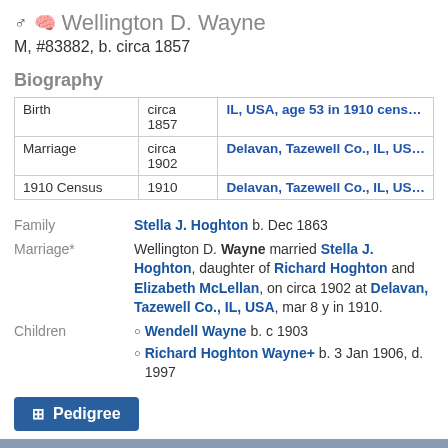♂ 🧠 Wellington D. Wayne
M, #83882, b. circa 1857
Biography
| Event | Date | Place |
| --- | --- | --- |
| Birth | circa 1857 | IL, USA, age 53 in 1910 census |
| Marriage | circa 1902 | Delavan, Tazewell Co., IL, USA |
| 1910 Census | 1910 | Delavan, Tazewell Co., IL, USA |
Family   Stella J. Hoghton b. Dec 1863
Marriage*   Wellington D. Wayne married Stella J. Hoghton, daughter of Richard Hoghton and Elizabeth McLellan, on circa 1902 at Delavan, Tazewell Co., IL, USA, mar 8 y in 1910.
Wendell Wayne b. c 1903
Richard Hoghton Wayne+ b. 3 Jan 1906, d. 1997
Pedigree
♂ 🧠 Wendell Wayne
M, #83883, b. circa 1903